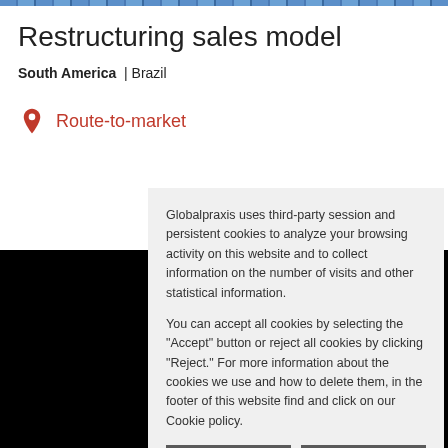Restructuring sales model
South America | Brazil
Route-to-market
Globalpraxis uses third-party session and persistent cookies to analyze your browsing activity on this website and to collect information on the number of visits and other statistical information.

You can accept all cookies by selecting the "Accept" button or reject all cookies by clicking "Reject." For more information about the cookies we use and how to delete them, in the footer of this website find and click on our Cookie policy.
ACCEPT    REJECT